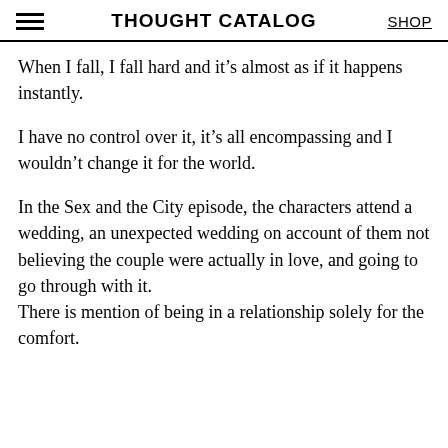THOUGHT CATALOG | SHOP
When I fall, I fall hard and it’s almost as if it happens instantly.
I have no control over it, it’s all encompassing and I wouldn’t change it for the world.
In the Sex and the City episode, the characters attend a wedding, an unexpected wedding on account of them not believing the couple were actually in love, and going to go through with it.
There is mention of being in a relationship solely for the comfort.